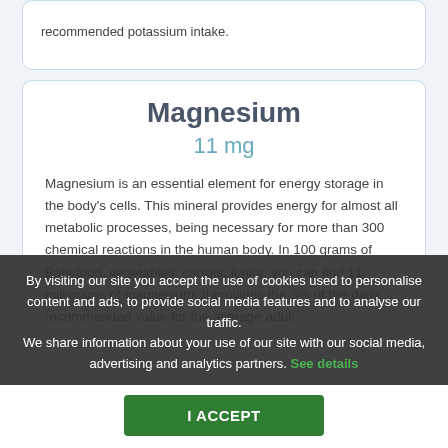recommended potassium intake.
Magnesium
11 mg
Magnesium is an essential element for energy storage in the body's cells. This mineral provides energy for almost all metabolic processes, being necessary for more than 300 chemical reactions in the human body. In 100 grams of Babyfood, vegetables, carrots, junior, you can find 11 milligrams of magnesium. It provides the 3% of the daily recommended value for the average adult.
By visiting our site you accept the use of cookies used to personalise content and ads, to provide social media features and to analyse our traffic. We share information about your use of our site with our social media, advertising and analytics partners. See details
I ACCEPT